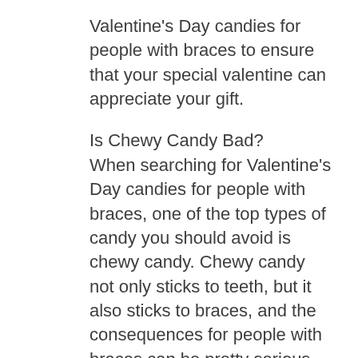Valentine's Day candies for people with braces to ensure that your special valentine can appreciate your gift.
Is Chewy Candy Bad?
When searching for Valentine's Day candies for people with braces, one of the top types of candy you should avoid is chewy candy. Chewy candy not only sticks to teeth, but it also sticks to braces, and the consequences for people with braces can be pretty serious.
When chewy candy sticks to teeth, it's bad news because it can leave behind a sugary residue, making them tough to clean and hard to position. But